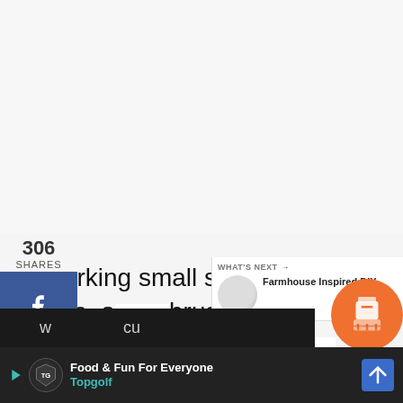[Figure (screenshot): Social share sidebar with 306 shares count, Facebook (blue), Twitter (blue), Pinterest (red), and Mix (orange) share buttons on the left side]
306 SHARES
Working small sections at a time, ap brush stroke of stain along the grain of t
[Figure (infographic): WHAT'S NEXT arrow panel with thumbnail and text 'Farmhouse Inspired DIY...']
[Figure (infographic): Right floating UI: teal heart button, 312 count, share circle button]
[Figure (infographic): Orange circle icon at bottom right]
w cu
[Figure (infographic): Bottom black ad bar with Topgolf logo, 'Food & Fun For Everyone' text, 'Topgolf' in teal, blue navigation arrow]